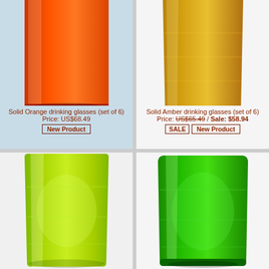[Figure (photo): Solid orange drinking glass on light blue background, tall cylinder shape, top portion visible]
Solid Orange drinking glasses (set of 6)
Price: US$68.49
New Product
[Figure (photo): Solid amber/yellow drinking glass on white background, full glass visible]
Solid Amber drinking glasses (set of 6)
Price: US$65.49 / Sale: $58.94
SALE  New Product
[Figure (photo): Solid yellow-green drinking glass on white background, full glass visible]
[Figure (photo): Solid bright green drinking glass on white background, full glass visible]